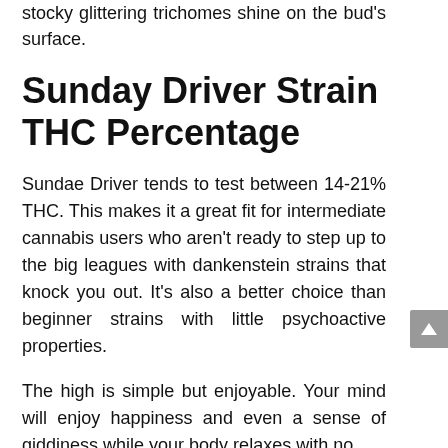stocky glittering trichomes shine on the bud's surface.
Sunday Driver Strain THC Percentage
Sundae Driver tends to test between 14-21% THC. This makes it a great fit for intermediate cannabis users who aren't ready to step up to the big leagues with dankenstein strains that knock you out. It's also a better choice than beginner strains with little psychoactive properties.
The high is simple but enjoyable. Your mind will enjoy happiness and even a sense of giddiness while your body relaxes with no